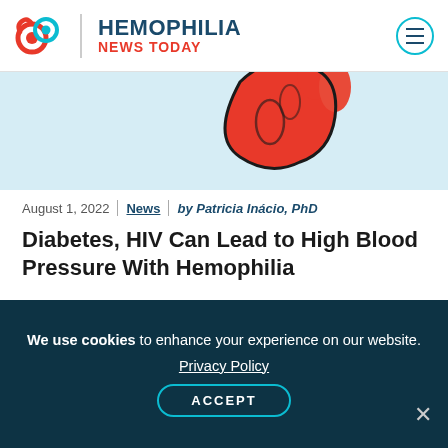HEMOPHILIA NEWS TODAY
[Figure (illustration): Partial illustration of a red blood cell or medical graphic on a light blue background, cropped at top of article]
August 1, 2022 | News | by Patricia Inácio, PhD
Diabetes, HIV Can Lead to High Blood Pressure With Hemophilia
[Figure (illustration): Illustration showing palm trees on left and a purple flowing shape on right, on a light blue background — article header image]
We use cookies to enhance your experience on our website. Privacy Policy ACCEPT